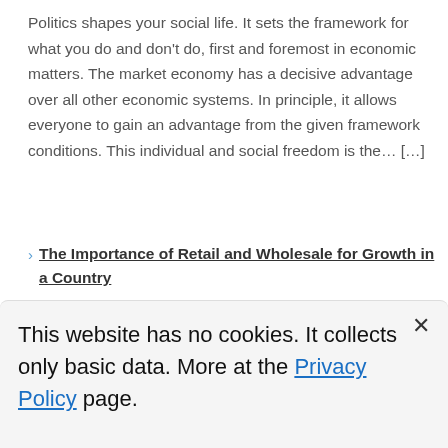Politics shapes your social life. It sets the framework for what you do and don't do, first and foremost in economic matters. The market economy has a decisive advantage over all other economic systems. In principle, it allows everyone to gain an advantage from the given framework conditions. This individual and social freedom is the… […]
The Importance of Retail and Wholesale for Growth in a Country
Retail is the process of selling goods to end consumers. Retailers are companies that sell products to the public. Wholesale, on the other hand, is a process of buying goods
This website has no cookies. It collects only basic data. More at the Privacy Policy page.